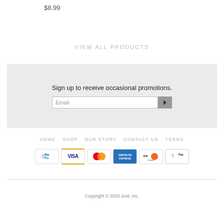$8.99
VIEW ALL PRODUCTS
Sign up to receive occasional promotions.
HOME   SHOP   OUR STORY   CONTACT US   TERMS
[Figure (other): Payment method logos: PayPal, Visa, MasterCard, American Express, Discover, Apple Pay]
Copyright © 2022 Just, Inc.